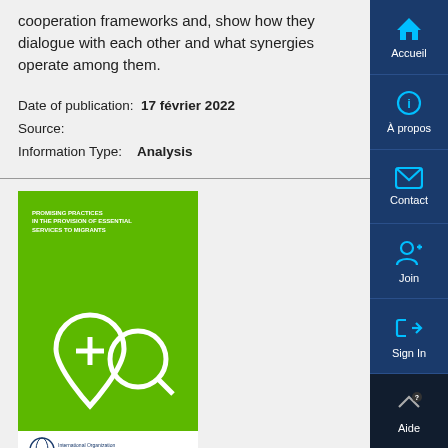cooperation frameworks and, show how they dialogue with each other and what synergies operate among them.
Date of publication: 17 février 2022
Source:
Information Type: Analysis
[Figure (illustration): Book cover of 'Promising Practices in the Provision of Essential Services to Migrants' with a green background featuring white line icons of a water drop with a cross and a magnifying glass circle. White footer area with IOM logo.]
Promising Practices In The